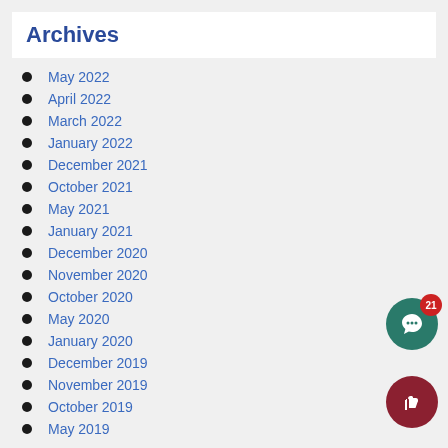Archives
May 2022
April 2022
March 2022
January 2022
December 2021
October 2021
May 2021
January 2021
December 2020
November 2020
October 2020
May 2020
January 2020
December 2019
November 2019
October 2019
May 2019
[Figure (illustration): Green circular chat button with speech bubble icon and red badge showing '21', and dark red circular thumbs-up like button below it]